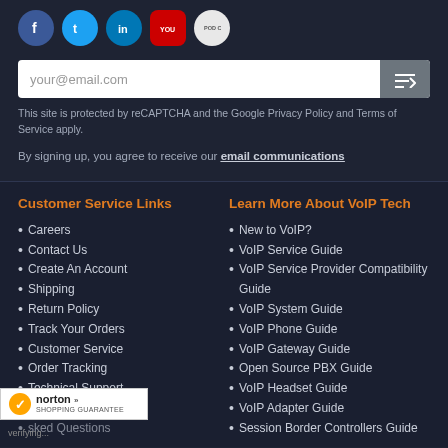[Figure (other): Social media icons: Facebook (blue circle), Twitter (cyan circle), LinkedIn (blue circle), YouTube (red square-ish), Podcast (light gray circle)]
your@email.com [email input field with submit button]
This site is protected by reCAPTCHA and the Google Privacy Policy and Terms of Service apply.
By signing up, you agree to receive our email communications
Customer Service Links
Careers
Contact Us
Create An Account
Shipping
Return Policy
Track Your Orders
Customer Service
Order Tracking
Technical Support
r Return Policies
sked Questions
Learn More About VoIP Tech
New to VoIP?
VoIP Service Guide
VoIP Service Provider Compatibility Guide
VoIP System Guide
VoIP Phone Guide
VoIP Gateway Guide
Open Source PBX Guide
VoIP Headset Guide
VoIP Adapter Guide
Session Border Controllers Guide
[Figure (logo): Norton Shopping Guarantee badge with checkmark]
verifying...